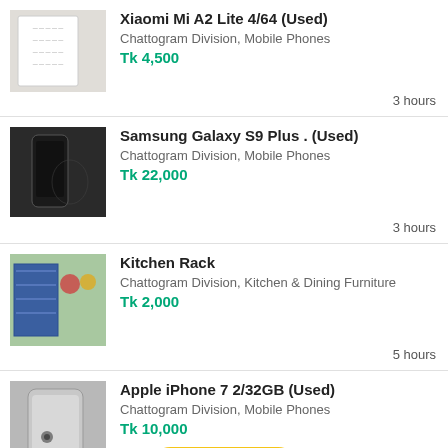Xiaomi Mi A2 Lite 4/64 (Used)
Chattogram Division, Mobile Phones
Tk 4,500
3 hours
Samsung Galaxy S9 Plus . (Used)
Chattogram Division, Mobile Phones
Tk 22,000
3 hours
Kitchen Rack
Chattogram Division, Kitchen & Dining Furniture
Tk 2,000
5 hours
Apple iPhone 7 2/32GB (Used)
Chattogram Division, Mobile Phones
Tk 10,000
5 hours
+ Post Ad